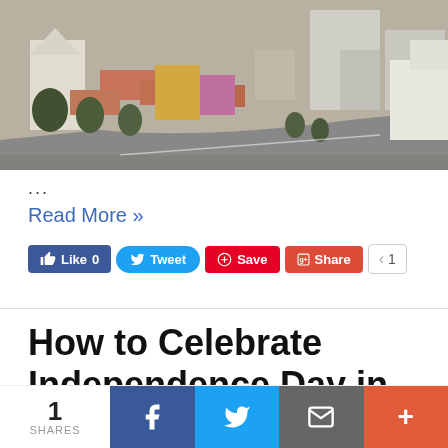[Figure (photo): Aerial view of a city with buildings, roads, and trees — appears to be a European or Latin American city center.]
...
Read More »
[Figure (infographic): Social share buttons: Like 0 (Facebook), Tweet (Twitter), Save (Pinterest), Share (Google+), count badge showing 1]
How to Celebrate Independence Day in Ukraine
Blogs / By Kate I.
[Figure (infographic): Bottom social share bar: 1 SHARES, Facebook, Twitter, Email, More buttons]